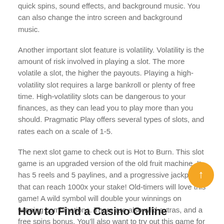quick spins, sound effects, and background music. You can also change the intro screen and background music.
Another important slot feature is volatility. Volatility is the amount of risk involved in playing a slot. The more volatile a slot, the higher the payouts. Playing a high-volatility slot requires a large bankroll or plenty of free time. High-volatility slots can be dangerous to your finances, as they can lead you to play more than you should. Pragmatic Play offers several types of slots, and rates each on a scale of 1-5.
The next slot game to check out is Hot to Burn. This slot game is an upgraded version of the old fruit machine. It has 5 reels and 5 paylines, and a progressive jackpot that can reach 1000x your stake! Old-timers will love this game! A wild symbol will double your winnings on winning combinations. There are also wild extras, and a free spins bonus. You'll also want to try out this game for fun.
Uncategorized
How to Find a Casino Online